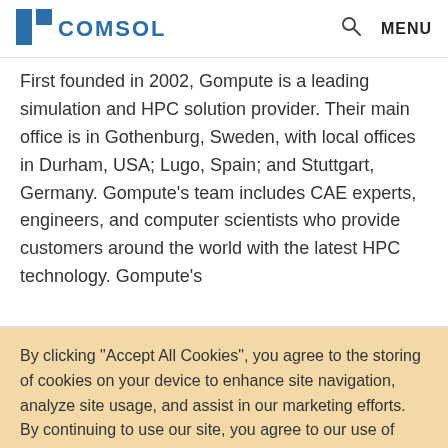COMSOL | MENU
First founded in 2002, Gompute is a leading simulation and HPC solution provider. Their main office is in Gothenburg, Sweden, with local offices in Durham, USA; Lugo, Spain; and Stuttgart, Germany. Gompute’s team includes CAE experts, engineers, and computer scientists who provide customers around the world with the latest HPC technology. Gompute's
By clicking “Accept All Cookies”, you agree to the storing of cookies on your device to enhance site navigation, analyze site usage, and assist in our marketing efforts. By continuing to use our site, you agree to our use of cookies.
Cookies Settings | Accept All Cookies